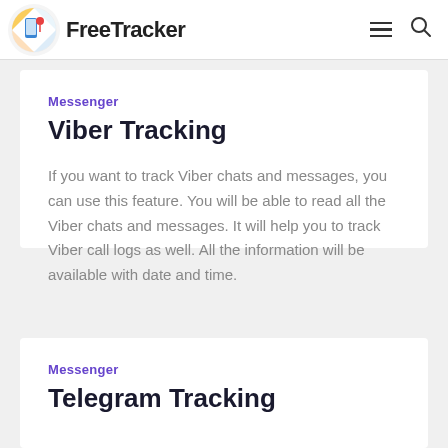FreeTracker
Messenger
Viber Tracking
If you want to track Viber chats and messages, you can use this feature. You will be able to read all the Viber chats and messages. It will help you to track Viber call logs as well. All the information will be available with date and time.
Messenger
Telegram Tracking